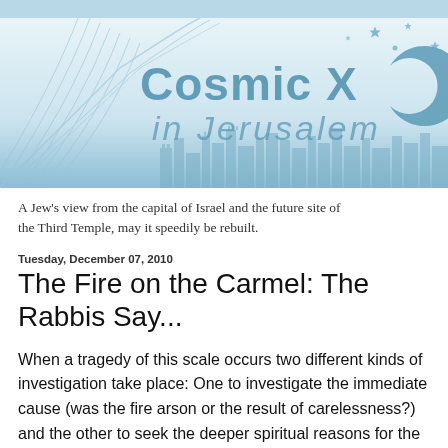[Figure (logo): Cosmic X in Jerusalem blog banner with stylized text, crescent moon, stars, and abstract swooping lines in blue tones on a light blue gradient background]
A Jew's view from the capital of Israel and the future site of the Third Temple, may it speedily be rebuilt.
Tuesday, December 07, 2010
The Fire on the Carmel: The Rabbis Say...
When a tragedy of this scale occurs two different kinds of investigation take place: One to investigate the immediate cause (was the fire arson or the result of carelessness?) and the other to seek the deeper spiritual reasons for the blaze.